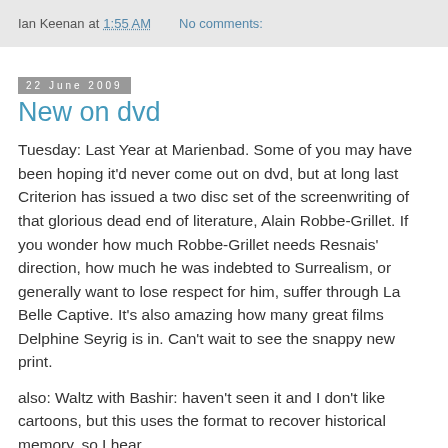Ian Keenan at 1:55 AM   No comments:
22 June 2009
New on dvd
Tuesday: Last Year at Marienbad. Some of you may have been hoping it'd never come out on dvd, but at long last Criterion has issued a two disc set of the screenwriting of that glorious dead end of literature, Alain Robbe-Grillet. If you wonder how much Robbe-Grillet needs Resnais' direction, how much he was indebted to Surrealism, or generally want to lose respect for him, suffer through La Belle Captive. It's also amazing how many great films Delphine Seyrig is in. Can't wait to see the snappy new print.
also: Waltz with Bashir: haven't seen it and I don't like cartoons, but this uses the format to recover historical memory, so I hear.
Last week: Scott Walker: 30th Century Man. Haven't seen it.